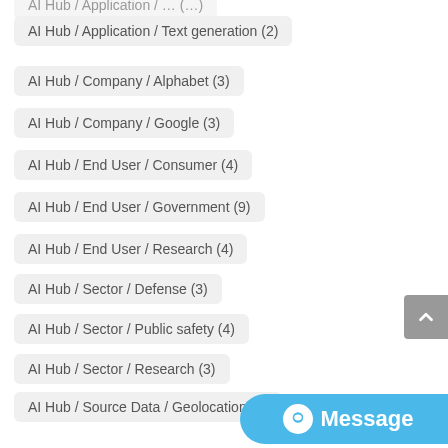AI Hub / Application / Text generation (2)
AI Hub / Company / Alphabet (3)
AI Hub / Company / Google (3)
AI Hub / End User / Consumer (4)
AI Hub / End User / Government (9)
AI Hub / End User / Research (4)
AI Hub / Sector / Defense (3)
AI Hub / Sector / Public safety (4)
AI Hub / Sector / Research (3)
AI Hub / Source Data / Geolocation (2)
AI Hub / Source Data / Images (2)
AI Hub / Source Data / Sensors (3)
AI Hub / Source Data / Text (2)